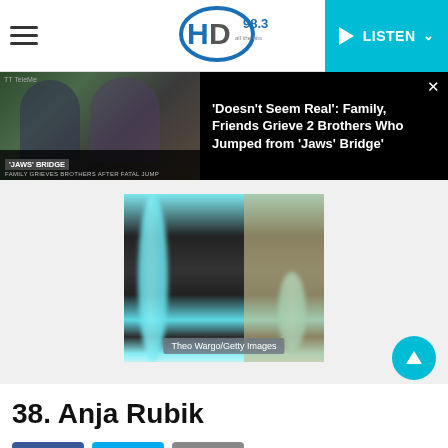HD 98.3 — LISTEN
[Figure (screenshot): News video thumbnail showing two young men with overlay text 'JAWS BRIDGE — FAMILY GRIEVES BROTHERS AFTER FATAL JUMP']
'Doesn't Seem Real': Family, Friends Grieve 2 Brothers Who Jumped from 'Jaws' Bridge'
[Figure (photo): Photo of Anja Rubik wearing a sheer black outfit with teal/turquoise feather trim at what appears to be an outdoor event. Credit: Theo Wargo/Getty Images]
38. Anja Rubik